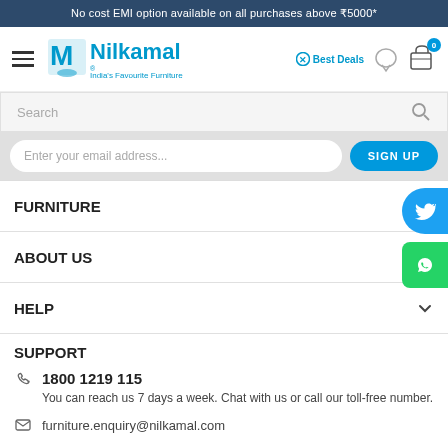No cost EMI option available on all purchases above ₹5000*
[Figure (logo): Nilkamal logo with tagline India's Favourite Furniture]
Search
Enter your email address...
SIGN UP
FURNITURE
ABOUT US
HELP
SUPPORT
1800 1219 115
You can reach us 7 days a week. Chat with us or call our toll-free number.
furniture.enquiry@nilkamal.com